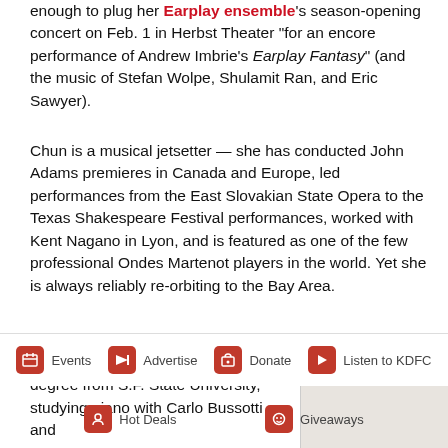enough to plug her Earplay ensemble's season-opening concert on Feb. 1 in Herbst Theater "for an encore performance of Andrew Imbrie's Earplay Fantasy" (and the music of Stefan Wolpe, Shulamit Ran, and Eric Sawyer).
Chun is a musical jetsetter — she has conducted John Adams premieres in Canada and Europe, led performances from the East Slovakian State Opera to the Texas Shakespeare Festival performances, worked with Kent Nagano in Lyon, and is featured as one of the few professional Ondes Martenot players in the world. Yet she is always reliably re-orbiting to the Bay Area.
Chun received her Master of Arts degree from S.F. State University, studying piano with Carlo Bussotti and
[Figure (photo): Partial image placeholder (grey/beige rectangle), appears to be a cropped photo on the right side.]
Events | Advertise | Donate | Listen to KDFC | Hot Deals | Giveaways